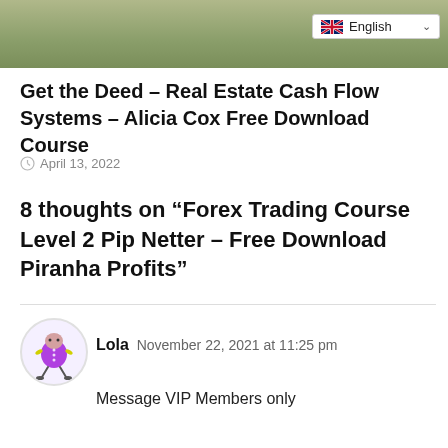[Figure (photo): Landscape background image with green/grass field, partially visible. Language selector dropdown showing UK flag and 'English' in top right corner.]
Get the Deed – Real Estate Cash Flow Systems – Alicia Cox Free Download Course
April 13, 2022
8 thoughts on “Forex Trading Course Level 2 Pip Netter – Free Download Piranha Profits”
[Figure (illustration): Cartoon avatar of a purple round character with legs, inside a circular avatar frame.]
Lola  November 22, 2021 at 11:25 pm
Message VIP Members only